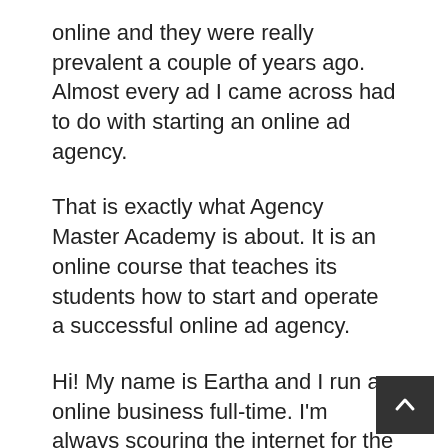online and they were really prevalent a couple of years ago. Almost every ad I came across had to do with starting an online ad agency.
That is exactly what Agency Master Academy is about. It is an online course that teaches its students how to start and operate a successful online ad agency.
Hi! My name is Eartha and I run an online business full-time. I'm always scouring the internet for the latest online courses and products related to earning income online.
In this brief review, I will cover what is in the course, a bit more about the creator